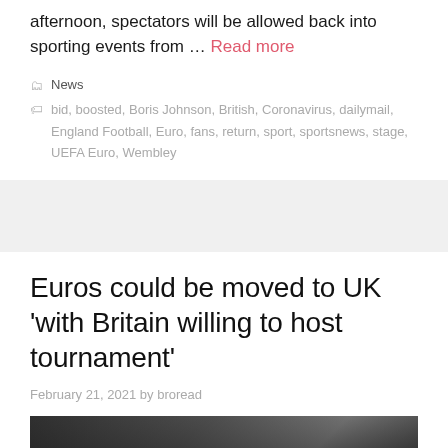afternoon, spectators will be allowed back into sporting events from … Read more
News
bid, boosted, Boris Johnson, British, Coronavirus, dailymail, England Football, Euro, fans, return, sport, sportsnews, stage, UEFA Euro, Wembley
Euros could be moved to UK 'with Britain willing to host tournament'
February 21, 2021 by broread
[Figure (photo): Partial view of a dark stadium or sports venue interior, black and white or dark toned image]